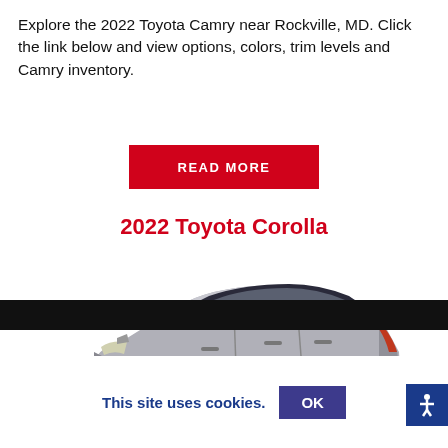Explore the 2022 Toyota Camry near Rockville, MD. Click the link below and view options, colors, trim levels and Camry inventory.
READ MORE
2022 Toyota Corolla
[Figure (photo): Side profile of a silver 2022 Toyota Corolla with black wheels on a white background, with a red circular chat widget overlaid on the lower left]
This site uses cookies.
OK